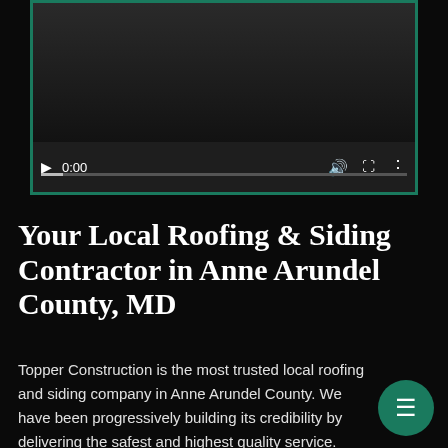[Figure (screenshot): Video player with dark background, play button, 0:00 timestamp, volume/fullscreen/more controls, and a progress bar. Bordered with dark green/teal border.]
Your Local Roofing & Siding Contractor in Anne Arundel County, MD
Topper Construction is the most trusted local roofing and siding company in Anne Arundel County. We have been progressively building its credibility by delivering the safest and highest quality service. Topper Construction has completed over 75,000